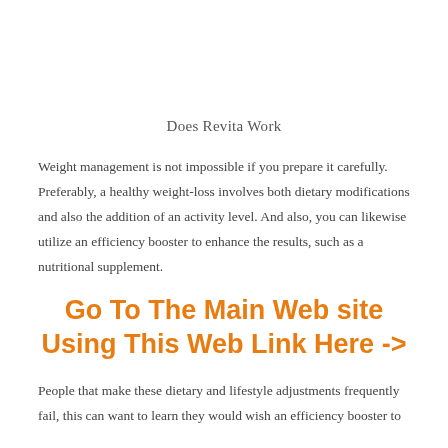Does Revita Work
Weight management is not impossible if you prepare it carefully. Preferably, a healthy weight-loss involves both dietary modifications and also the addition of an activity level. And also, you can likewise utilize an efficiency booster to enhance the results, such as a nutritional supplement.
Go To The Main Web site Using This Web Link Here ->
People that make these dietary and lifestyle adjustments frequently fail, this can want to learn they would wish an efficiency booster to